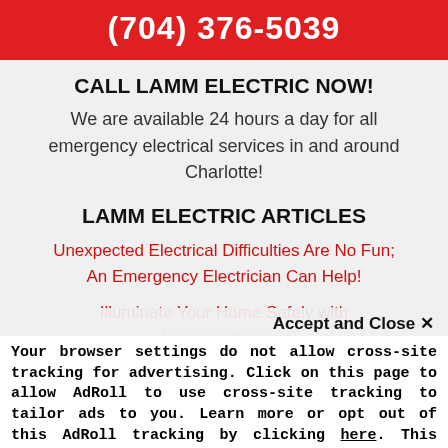(704) 376-5039
CALL LAMM ELECTRIC NOW!
We are available 24 hours a day for all emergency electrical services in and around Charlotte!
LAMM ELECTRIC ARTICLES
Unexpected Electrical Difficulties Are No Fun; An Emergency Electrician Can Help!
Illuminate Your Home Safely with Professional Li...
Accept and Close ✕
Your browser settings do not allow cross-site tracking for advertising. Click on this page to allow AdRoll to use cross-site tracking to tailor ads to you. Learn more or opt out of this AdRoll tracking by clicking here. This message only appears once.